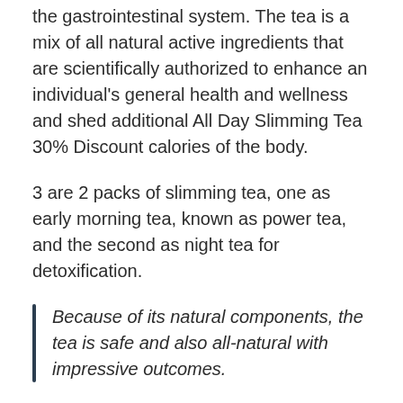the gastrointestinal system. The tea is a mix of all natural active ingredients that are scientifically authorized to enhance an individual's general health and wellness and shed additional All Day Slimming Tea 30% Discount calories of the body.
3 are 2 packs of slimming tea, one as early morning tea, known as power tea, and the second as night tea for detoxification.
Because of its natural components, the tea is safe and also all-natural with impressive outcomes.
Main Perks of Using All Day Slimming Tea Tea All Day Slimming Tea tea is a fantastic structure that